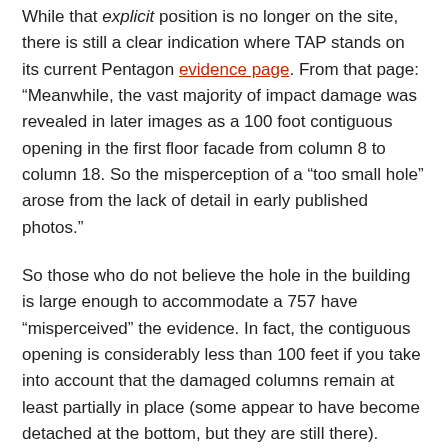While that explicit position is no longer on the site, there is still a clear indication where TAP stands on its current Pentagon evidence page. From that page: “Meanwhile, the vast majority of impact damage was revealed in later images as a 100 foot contiguous opening in the first floor facade from column 8 to column 18. So the misperception of a “too small hole” arose from the lack of detail in early published photos.”
So those who do not believe the hole in the building is large enough to accommodate a 757 have “misperceived” the evidence. In fact, the contiguous opening is considerably less than 100 feet if you take into account that the damaged columns remain at least partially in place (some appear to have become detached at the bottom, but they are still there).
I do realize that there are those who would claim that in my frequent voicing of the importance of the